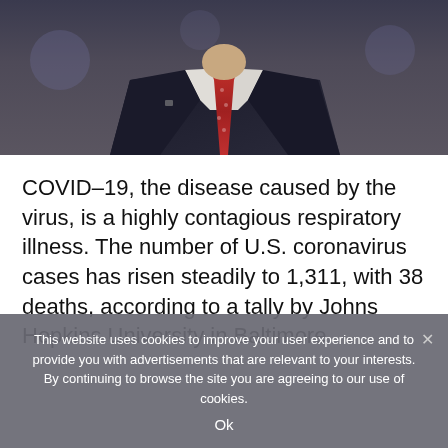[Figure (photo): Photograph of a man in a dark suit with a red patterned tie, cropped at chest/neck level, with flags visible in the blurred background.]
COVID-19, the disease caused by the virus, is a highly contagious respiratory illness. The number of U.S. coronavirus cases has risen steadily to 1,311, with 38 deaths, according to a tally by Johns Hopkins University in Baltimore.
This website uses cookies to improve your user experience and to provide you with advertisements that are relevant to your interests. By continuing to browse the site you are agreeing to our use of cookies.
Ok